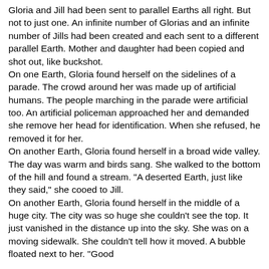Gloria and Jill had been sent to parallel Earths all right. But not to just one. An infinite number of Glorias and an infinite number of Jills had been created and each sent to a different parallel Earth. Mother and daughter had been copied and shot out, like buckshot.
On one Earth, Gloria found herself on the sidelines of a parade. The crowd around her was made up of artificial humans. The people marching in the parade were artificial too. An artificial policeman approached her and demanded she remove her head for identification. When she refused, he removed it for her.
On another Earth, Gloria found herself in a broad wide valley. The day was warm and birds sang. She walked to the bottom of the hill and found a stream. "A deserted Earth, just like they said," she cooed to Jill.
On another Earth, Gloria found herself in the middle of a huge city. The city was so huge she couldn't see the top. It just vanished in the distance up into the sky. She was on a moving sidewalk. She couldn't tell how it moved. A bubble floated next to her. "Good...